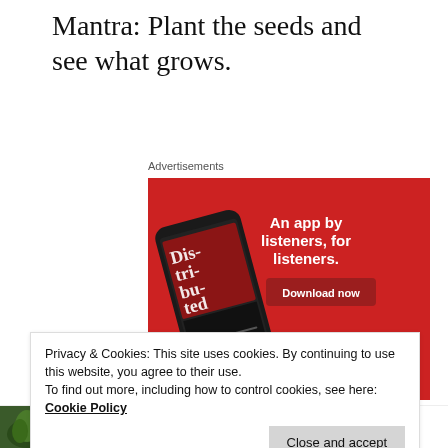Mantra: Plant the seeds and see what grows.
Advertisements
[Figure (illustration): Advertisement banner with red background showing a smartphone running a podcast app with 'Dis-tri-bu-ted' displayed, and text 'An app by listeners, for listeners.' with a 'Download now' button.]
Privacy & Cookies: This site uses cookies. By continuing to use this website, you agree to their use.
To find out more, including how to control cookies, see here: Cookie Policy
Close and accept
Swords